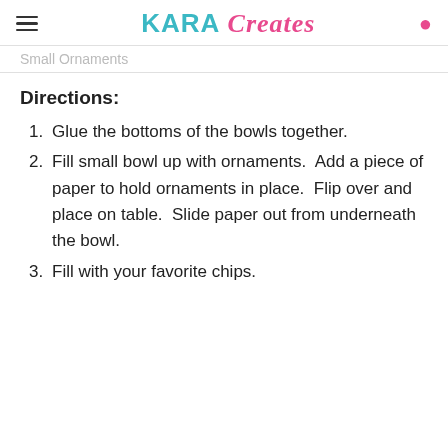KARA Creates
Small Ornaments
Directions:
Glue the bottoms of the bowls together.
Fill small bowl up with ornaments.  Add a piece of paper to hold ornaments in place.  Flip over and place on table.  Slide paper out from underneath the bowl.
Fill with your favorite chips.